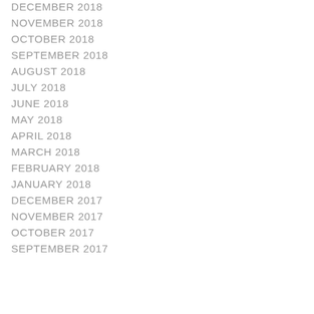DECEMBER 2018
NOVEMBER 2018
OCTOBER 2018
SEPTEMBER 2018
AUGUST 2018
JULY 2018
JUNE 2018
MAY 2018
APRIL 2018
MARCH 2018
FEBRUARY 2018
JANUARY 2018
DECEMBER 2017
NOVEMBER 2017
OCTOBER 2017
SEPTEMBER 2017